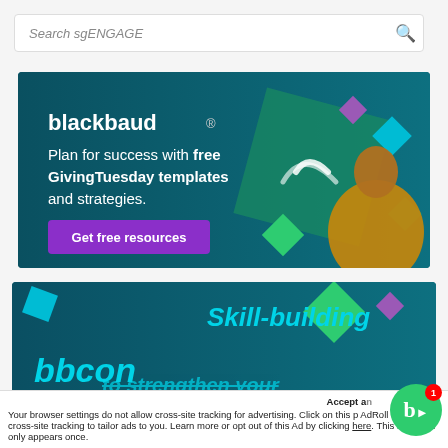Search sgENGAGE
[Figure (screenshot): Blackbaud advertisement banner: teal background with woman in yellow shirt, text 'blackbaud — Plan for success with free GivingTuesday templates and strategies.' with a purple 'Get free resources' button and geometric diamond shapes]
[Figure (screenshot): bbcon advertisement banner: teal background with geometric diamond shapes in green, cyan and purple, with 'bbcon' logo and text 'Skill-building to strengthen your']
Accept an Your browser settings do not allow cross-site tracking for advertising. Click on this AdRoll to use cross-site tracking to tailor ads to you. Learn more or opt out of this Ad by clicking here. This message only appears once.